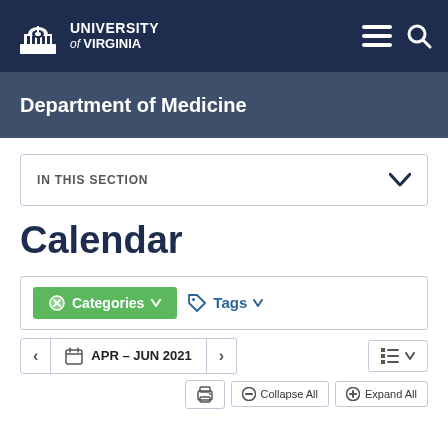University of Virginia
Department of Medicine
IN THIS SECTION
Calendar
Categories · Tags
APR – JUN 2021